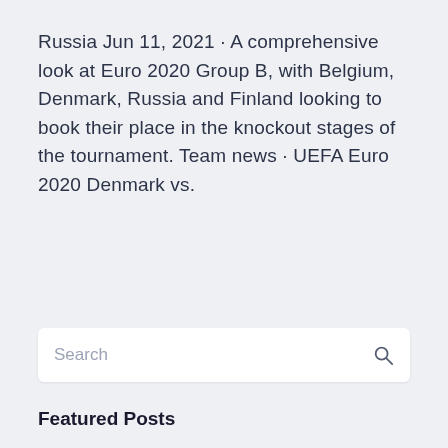Russia Jun 11, 2021 · A comprehensive look at Euro 2020 Group B, with Belgium, Denmark, Russia and Finland looking to book their place in the knockout stages of the tournament. Team news · UEFA Euro 2020 Denmark vs.
Search
Featured Posts